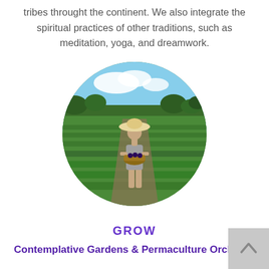tribes throught the continent. We also integrate the spiritual practices of other traditions, such as meditation, yoga, and dreamwork.
[Figure (photo): Circular cropped photo of a woman in a wide-brim hat carrying a basket of dark vegetables through a lush green farm field with trees in the background and a partly cloudy sky.]
GROW
Contemplative Gardens & Permaculture Orchards